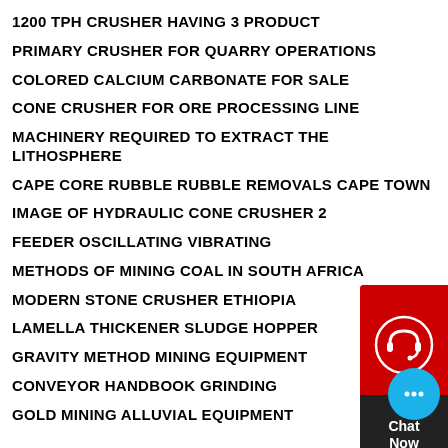1200 TPH CRUSHER HAVING 3 PRODUCT
PRIMARY CRUSHER FOR QUARRY OPERATIONS
COLORED CALCIUM CARBONATE FOR SALE
CONE CRUSHER FOR ORE PROCESSING LINE
MACHINERY REQUIRED TO EXTRACT THE LITHOSPHERE
CAPE CORE RUBBLE RUBBLE REMOVALS CAPE TOWN
IMAGE OF HYDRAULIC CONE CRUSHER 2
FEEDER OSCILLATING VIBRATING
METHODS OF MINING COAL IN SOUTH AFRICA
MODERN STONE CRUSHER ETHIOPIA
LAMELLA THICKENER SLUDGE HOPPER
GRAVITY METHOD MINING EQUIPMENT
CONVEYOR HANDBOOK GRINDING
GOLD MINING ALLUVIAL EQUIPMENT
[Figure (illustration): Red chat widget with headset icon and Chat Now label, with blue close button, and a separate blue chat bubble icon at bottom right]